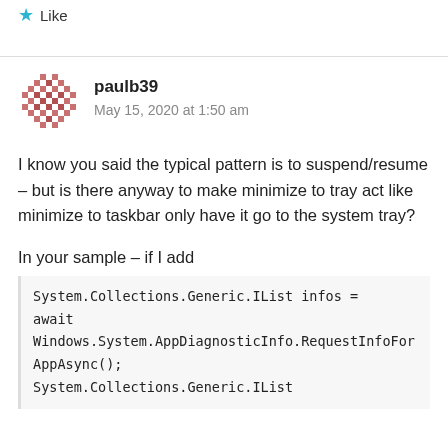Like
paulb39
May 15, 2020 at 1:50 am
I know you said the typical pattern is to suspend/resume – but is there anyway to make minimize to tray act like minimize to taskbar only have it go to the system tray?
In your sample – if I add
System.Collections.Generic.IList infos = await
Windows.System.AppDiagnosticInfo.RequestInfoForAppAsync();
System.Collections.Generic.IList